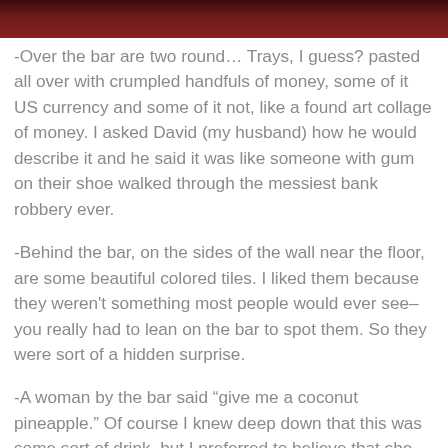[Figure (photo): Dark reddish-brown photo strip at the top of the page, appears to be a cropped image of a bar or interior scene.]
-Over the bar are two round… Trays, I guess? pasted all over with crumpled handfuls of money, some of it US currency and some of it not, like a found art collage of money. I asked David (my husband) how he would describe it and he said it was like someone with gum on their shoe walked through the messiest bank robbery ever.
-Behind the bar, on the sides of the wall near the floor, are some beautiful colored tiles. I liked them because they weren't something most people would ever see–you really had to lean on the bar to spot them. So they were sort of a hidden surprise.
-A woman by the bar said “give me a coconut pineapple.” Of course I knew deep down that this was some sort of drink, but I preferred to believe that she was asking for a bizarre hybrid fruit known only to the best bartenders,